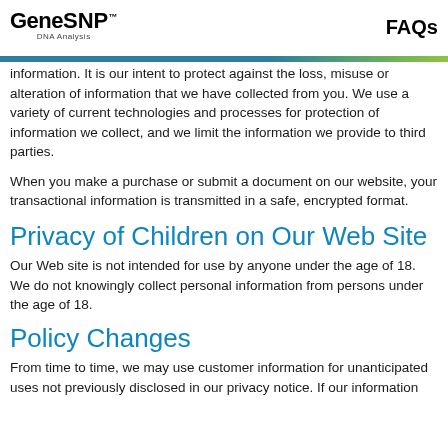GeneSNP DNA Analysis | FAQs
information. It is our intent to protect against the loss, misuse or alteration of information that we have collected from you. We use a variety of current technologies and processes for protection of information we collect, and we limit the information we provide to third parties.
When you make a purchase or submit a document on our website, your transactional information is transmitted in a safe, encrypted format.
Privacy of Children on Our Web Site
Our Web site is not intended for use by anyone under the age of 18. We do not knowingly collect personal information from persons under the age of 18.
Policy Changes
From time to time, we may use customer information for unanticipated uses not previously disclosed in our privacy notice. If our information